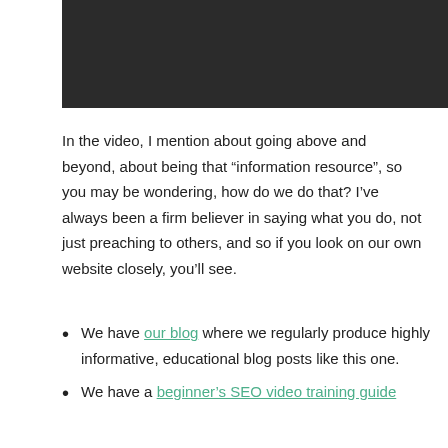[Figure (other): Dark header image banner at top of page]
In the video, I mention about going above and beyond, about being that “information resource”, so you may be wondering, how do we do that? I’ve always been a firm believer in saying what you do, not just preaching to others, and so if you look on our own website closely, you’ll see.
We have our blog where we regularly produce highly informative, educational blog posts like this one.
We have a beginner’s SEO video training guide